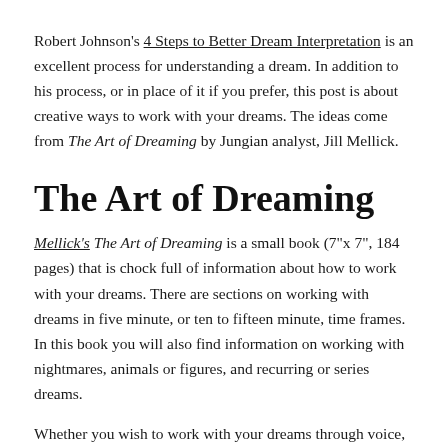Robert Johnson's 4 Steps to Better Dream Interpretation is an excellent process for understanding a dream. In addition to his process, or in place of it if you prefer, this post is about creative ways to work with your dreams. The ideas come from The Art of Dreaming by Jungian analyst, Jill Mellick.
The Art of Dreaming
Mellick's The Art of Dreaming is a small book (7"x 7", 184 pages) that is chock full of information about how to work with your dreams. There are sections on working with dreams in five minute, or ten to fifteen minute, time frames. In this book you will also find information on working with nightmares, animals or figures, and recurring or series dreams.
Whether you wish to work with your dreams through voice, movement, wordplay, imagination, or paint, there is literally